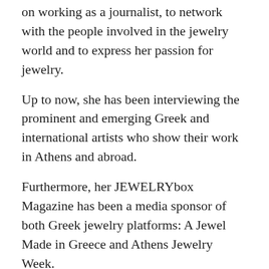on working as a journalist, to network with the people involved in the jewelry world and to express her passion for jewelry.
Up to now, she has been interviewing the prominent and emerging Greek and international artists who show their work in Athens and abroad.
Furthermore, her JEWELRYbox Magazine has been a media sponsor of both Greek jewelry platforms: A Jewel Made in Greece and Athens Jewelry Week.
Her future plan is to have a website built to promote the Greek jewelry history.
e-mail: kontogiannimar@yahoo.gr
Facebook: www.facebook.com/JEWELRYbox.magazine